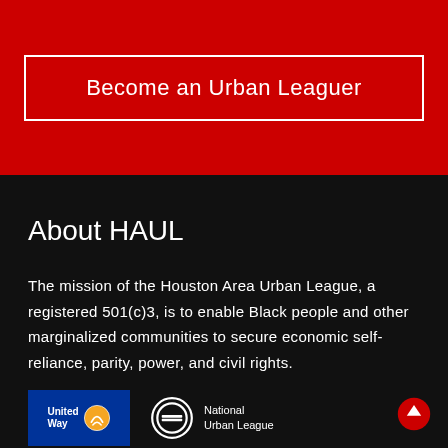Become an Urban Leaguer
About HAUL
The mission of the Houston Area Urban League, a registered 501(c)3, is to enable Black people and other marginalized communities to secure economic self-reliance, parity, power, and civil rights.
[Figure (logo): United Way logo — blue background with white text and orange/yellow circular icon]
[Figure (logo): National Urban League logo — white circle with equal sign, text reads National Urban League]